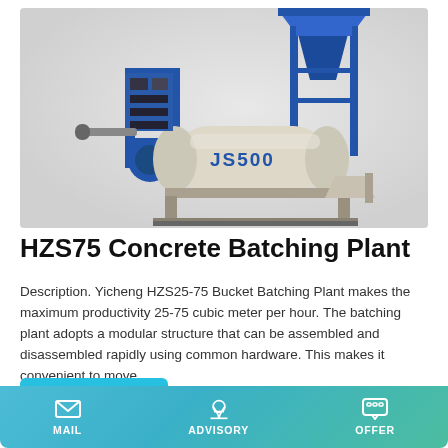[Figure (photo): JS500 concrete batching plant / mixer machine with blue steel frame structure, hopper on top, and a large cylindrical mixing drum labeled JS500 in the center.]
HZS75 Concrete Batching Plant
Description. Yicheng HZS25-75 Bucket Batching Plant makes the maximum productivity 25-75 cubic meter per hour. The batching plant adopts a modular structure that can be assembled and disassembled rapidly using common hardware. This makes it convenient to move.
Learn More
MAIL   ADVISORY   OFFER